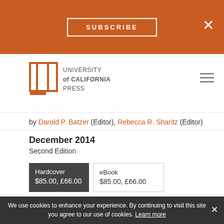SUBSCRIBE  ×
[Figure (logo): University of California Press logo with book icon]
by Darold P. Batzer (Editor), Rebecca R. Sharitz (Editor)
December 2014
Second Edition
Hardcover $85.00, £66.00
eBook $85.00, £66.00
TITLE DETAILS
Rights: Available worldwide
Pages: 372
ISBN: 9780520278585
Trim Size: 8.5x11
We use cookies to enhance your experience. By continuing to visit this site you agree to our use of cookies. Learn more